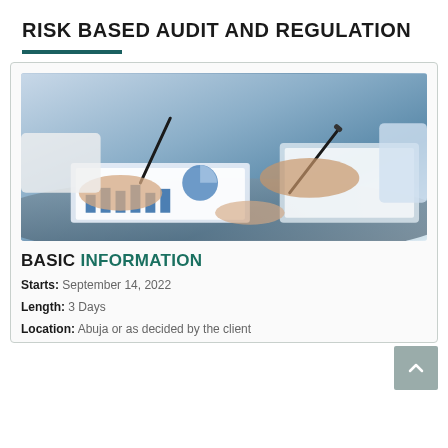RISK BASED AUDIT AND REGULATION
[Figure (photo): Two people reviewing financial charts and documents on a desk, one pointing at a chart and another writing with a pen]
BASIC INFORMATION
Starts: September 14, 2022
Length: 3 Days
Location: Abuja or as decided by the client